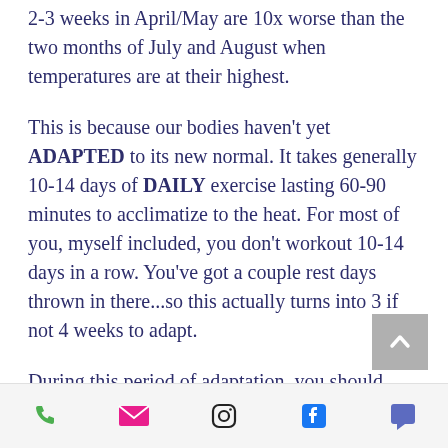2-3 weeks in April/May are 10x worse than the two months of July and August when temperatures are at their highest.
This is because our bodies haven't yet ADAPTED to its new normal. It takes generally 10-14 days of DAILY exercise lasting 60-90 minutes to acclimatize to the heat. For most of you, myself included, you don't workout 10-14 days in a row. You've got a couple rest days thrown in there...so this actually turns into 3 if not 4 weeks to adapt.
During this period of adaptation, you should support its natural adjustment
Phone | Email | Instagram | Facebook | Chat